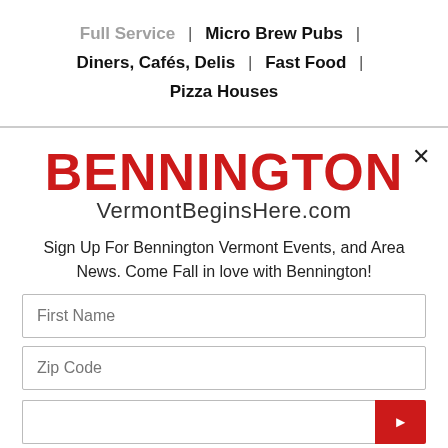Full Service | Micro Brew Pubs |
Diners, Cafés, Delis | Fast Food |
Pizza Houses
BENNINGTON
VermontBeginsHere.com
Sign Up For Bennington Vermont Events, and Area News. Come Fall in love with Bennington!
First Name
Zip Code